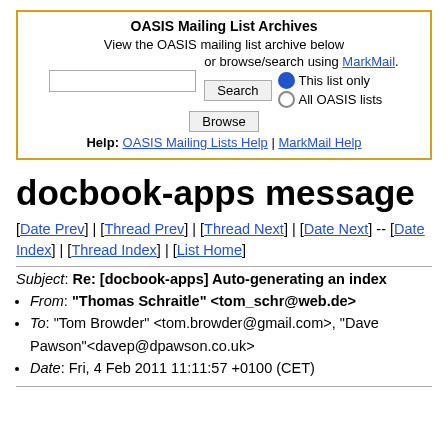[Figure (other): OASIS Mailing List Archives search widget with title, search input, Browse button, Search button, radio buttons for 'This list only' and 'All OASIS lists', and help links.]
docbook-apps message
[Date Prev] | [Thread Prev] | [Thread Next] | [Date Next] -- [Date Index] | [Thread Index] | [List Home]
Subject: Re: [docbook-apps] Auto-generating an index
From: "Thomas Schraitle" <tom_schr@web.de>
To: "Tom Browder" <tom.browder@gmail.com>, "Dave Pawson"<davep@dpawson.co.uk>
Date: Fri, 4 Feb 2011 11:11:57 +0100 (CET)